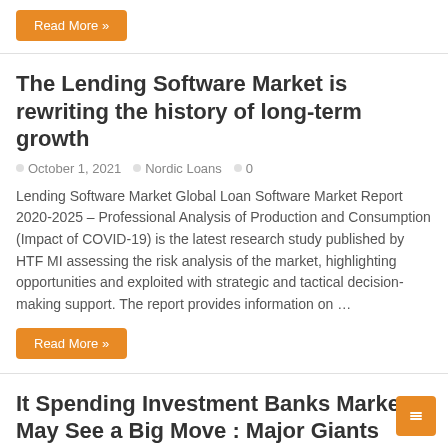Read More »
The Lending Software Market is rewriting the history of long-term growth
October 1, 2021   Nordic Loans   0
Lending Software Market Global Loan Software Market Report 2020-2025 – Professional Analysis of Production and Consumption (Impact of COVID-19) is the latest research study published by HTF MI assessing the risk analysis of the market, highlighting opportunities and exploited with strategic and tactical decision-making support. The report provides information on …
Read More »
It Spending Investment Banks Market May See a Big Move : Major Giants Infosys, TCS, Aegis